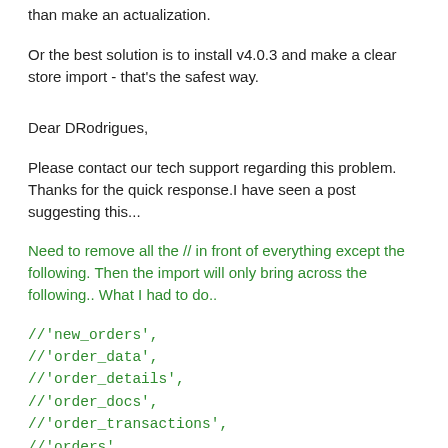than make an actualization.
Or the best solution is to install v4.0.3 and make a clear store import - that's the safest way.
Dear DRodrigues,
Please contact our tech support regarding this problem.
Thanks for the quick response.I have seen a post suggesting this...
Need to remove all the // in front of everything except the following. Then the import will only bring across the following.. What I had to do..
//'new_orders',
//'order_data',
//'order_details',
//'order_docs',
//'order_transactions',
//'orders',
//'user_data',
//'user_profiles',
//'user_session_products',
//'users',